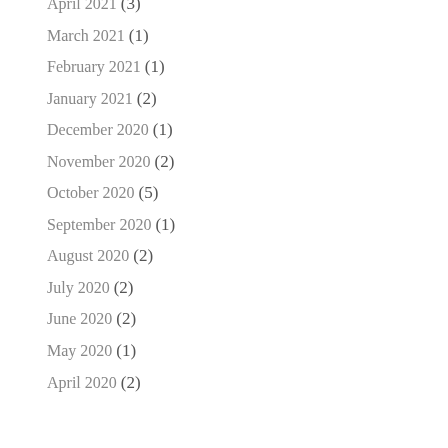April 2021 (3)
March 2021 (1)
February 2021 (1)
January 2021 (2)
December 2020 (1)
November 2020 (2)
October 2020 (5)
September 2020 (1)
August 2020 (2)
July 2020 (2)
June 2020 (2)
May 2020 (1)
April 2020 (2)